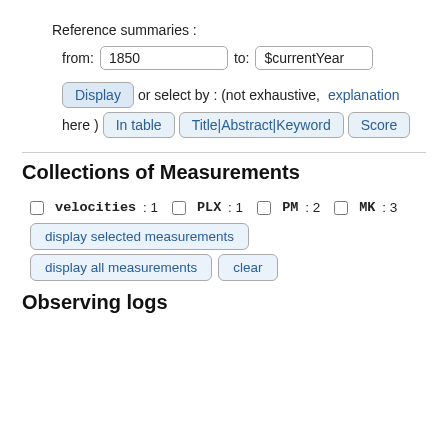Reference summaries :
from: 1850   to: $currentYear
Display or select by : (not exhaustive, explanation here)   In table   Title|Abstract|Keyword   Score
Collections of Measurements
☐ velocities : 1   ☐ PLX : 1   ☐ PM : 2   ☐ MK : 3
display selected measurements
display all measurements   clear
Observing logs